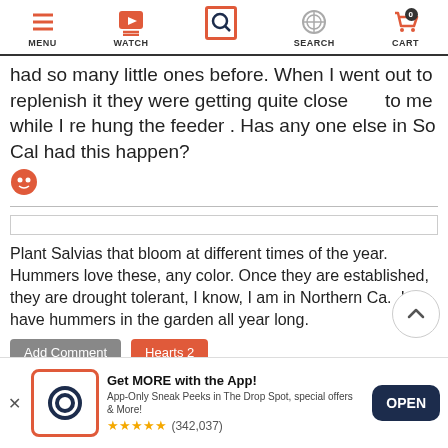MENU | WATCH | SEARCH | SEARCH | CART
had so many little ones before. When I went out to replenish it they were getting quite close        to me while I re hung the feeder . Has any one else in So Cal had this happen? 🐾
Plant Salvias that bloom at different times of the year.  Hummers love these, any color. Once they are established, they are drought tolerant, I know, I am in Northern Ca.  I have hummers in the garden all year long.
Add Comment   Hearts 2
[Figure (screenshot): Scroll to top button, circular with chevron up arrow]
Get MORE with the App! App-Only Sneak Peeks in The Drop Spot, special offers & More! ★★★★★ (342,037)